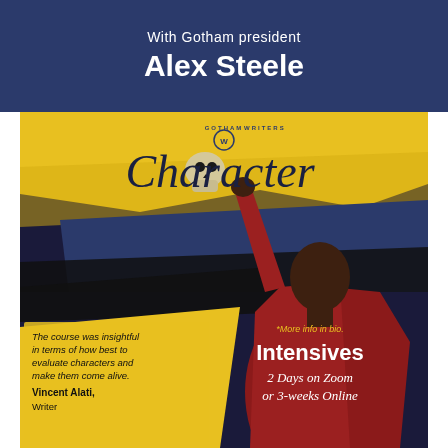With Gotham president Alex Steele
[Figure (illustration): Gotham Writers promotional poster for a 'Character' writing intensive course. Features a person in red holding a skull aloft against a dramatic yellow and navy brushstroke background. Includes Gotham Writers logo, the word 'Character' in italic script, a testimonial quote from Vincent Alati, and information about 2-day Zoom or 3-week online intensives.]
The course was insightful in terms of how best to evaluate characters and make them come alive.
Vincent Alati, Writer
*More info in bio.
Intensives
2 Days on Zoom or 3-weeks Online